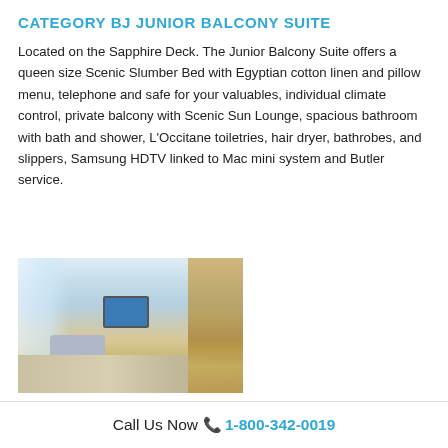CATEGORY BJ JUNIOR BALCONY SUITE
Located on the Sapphire Deck. The Junior Balcony Suite offers a queen size Scenic Slumber Bed with Egyptian cotton linen and pillow menu, telephone and safe for your valuables, individual climate control, private balcony with Scenic Sun Lounge, spacious bathroom with bath and shower, L'Occitane toiletries, hair dryer, bathrobes, and slippers, Samsung HDTV linked to Mac mini system and Butler service.
[Figure (photo): Interior photo of a cruise ship junior balcony suite showing a lounge area with sofa seating, a wall-mounted TV, wooden cabinetry, patterned carpet floor, and large windows letting in natural light.]
Call Us Now 📞 1-800-342-0019